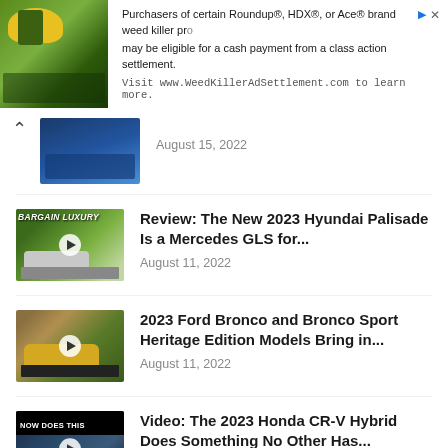[Figure (screenshot): Advertisement banner for WeedKillerAdSettlement.com class action settlement]
Purchasers of certain Roundup®, HDX®, or Ace® brand weed killer products may be eligible for a cash payment from a class action settlement. Visit www.WeedKillerAdSettlement.com to learn more.
[Figure (photo): Partial car image with date August 15, 2022]
August 15, 2022
[Figure (photo): Bargain Luxury video thumbnail showing SUV]
Review: The New 2023 Hyundai Palisade Is a Mercedes GLS for...
August 11, 2022
[Figure (photo): Yellow Ford Bronco video thumbnail]
2023 Ford Bronco and Bronco Sport Heritage Edition Models Bring in...
August 11, 2022
[Figure (photo): 2023 Honda CR-V Hybrid video thumbnail with NOW DOES THIS text]
Video: The 2023 Honda CR-V Hybrid Does Something No Other Has...
August 8, 2022